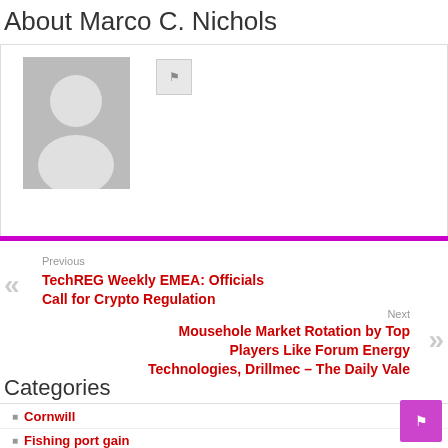About Marco C. Nichols
[Figure (photo): Default user avatar placeholder image (grey silhouette) with a small social/link icon button beside it, inside a bordered box]
Previous
TechREG Weekly EMEA: Officials Call for Crypto Regulation
Next
Mousehole Market Rotation by Top Players Like Forum Energy Technologies, Drillmec – The Daily Vale
Categories
Cornwill
Fishing port gain